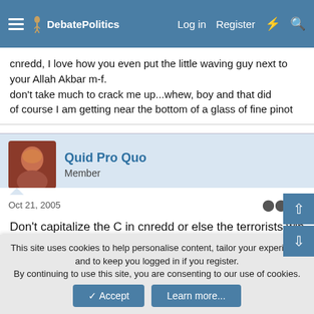DebatePolitics — Log in  Register
cnredd, I love how you even put the little waving guy next to your Allah Akbar m-f.
don't take much to crack me up...whew, boy and that did
of course I am getting near the bottom of a glass of fine pinot
Quid Pro Quo
Member
Oct 21, 2005  #8
Don't capitalize the C in cnredd or else the terrorists win :doh
cnredd
Major General Big Lug  DP Veteran
This site uses cookies to help personalise content, tailor your experience and to keep you logged in if you register.
By continuing to use this site, you are consenting to our use of cookies.
Accept  Learn more...